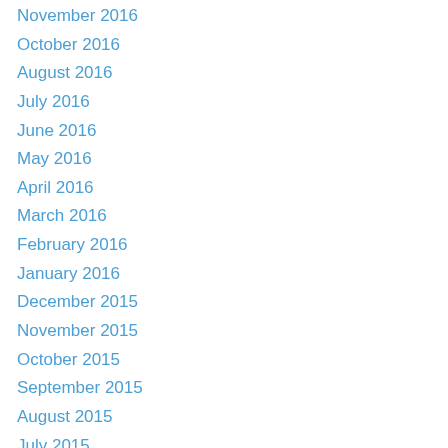November 2016
October 2016
August 2016
July 2016
June 2016
May 2016
April 2016
March 2016
February 2016
January 2016
December 2015
November 2015
October 2015
September 2015
August 2015
July 2015
June 2015
May 2015
April 2015
March 2015